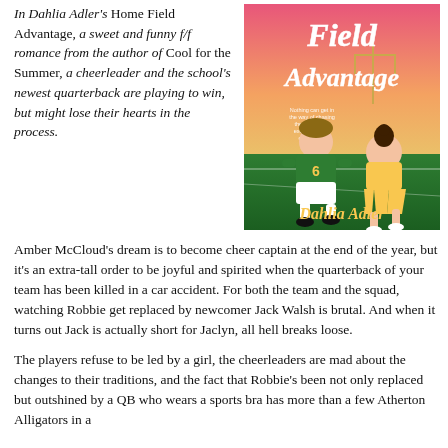In Dahlia Adler's Home Field Advantage, a sweet and funny f/f romance from the author of Cool for the Summer, a cheerleader and the school's newest quarterback are playing to win, but might lose their hearts in the process.
[Figure (illustration): Book cover of 'Home Field Advantage' by Dahlia Adler, showing two young women — one in a football uniform (#6, green and gold) and one in a cheerleader outfit — sitting together on a football field at sunset. The title appears in large white script text at the top, and the author name 'Dahlia Adler' appears at the bottom in stylized script.]
Amber McCloud's dream is to become cheer captain at the end of the year, but it's an extra-tall order to be joyful and spirited when the quarterback of your team has been killed in a car accident. For both the team and the squad, watching Robbie get replaced by newcomer Jack Walsh is brutal. And when it turns out Jack is actually short for Jaclyn, all hell breaks loose.
The players refuse to be led by a girl, the cheerleaders are mad about the changes to their traditions, and the fact that Robbie's been not only replaced but outshined by a QB who wears a sports bra has more than a few Atherton Alligators in a